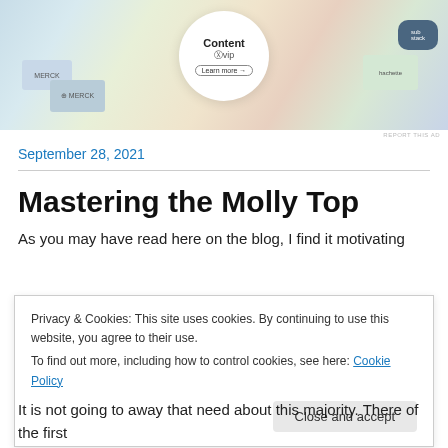[Figure (photo): Advertisement image showing WordPress VIP content platform with Merck and Hachette brand logos and cards. Text reads 'Content', 'WP vip', 'Learn more →']
REPORT THIS AD
September 28, 2021
Mastering the Molly Top
As you may have read here on the blog, I find it motivating
Privacy & Cookies: This site uses cookies. By continuing to use this website, you agree to their use.
To find out more, including how to control cookies, see here: Cookie Policy
Close and accept
It is not going to away that need about this majority. There of the first